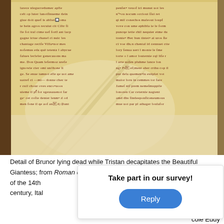[Figure (photo): Detail of an illuminated medieval manuscript page showing Gothic script in two columns on aged parchment with brown/reddish ink. From Roman de Tristan, 13th century, Italy, 14th century.]
Detail of Brunor lying dead while Tristan decapitates the Beautiful Giantess; from Roman de Tristan, manuscript of the 13th century, from [partially obscured] of the 14th century, Italy
Take part in our survey!
Reply
cole Eddy